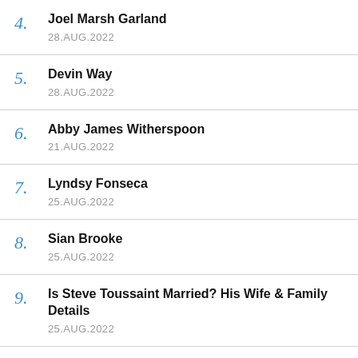4. Joel Marsh Garland — 28.AUG.2022
5. Devin Way — 28.AUG.2022
6. Abby James Witherspoon — 21.AUG.2022
7. Lyndsy Fonseca — 25.AUG.2022
8. Sian Brooke — 25.AUG.2022
9. Is Steve Toussaint Married? His Wife & Family Details — 25.AUG.2022